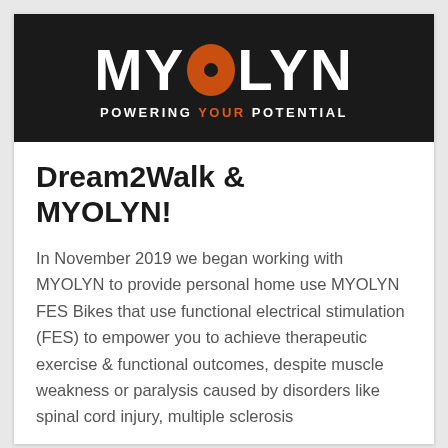[Figure (logo): MYOLYN logo on black background with orange neural/spider graphic inside the letter O, and tagline POWERING YOUR POTENTIAL below in white and orange text]
Dream2Walk & MYOLYN!
In November 2019 we began working with MYOLYN to provide personal home use MYOLYN FES Bikes that use functional electrical stimulation (FES) to empower you to achieve therapeutic exercise & functional outcomes, despite muscle weakness or paralysis caused by disorders like spinal cord injury, multiple sclerosis